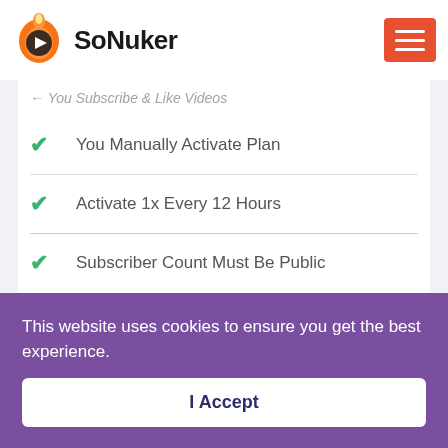SoNuker
You Manually Activate Plan
Activate 1x Every 12 Hours
Subscriber Count Must Be Public
Must Have 1+ Videos Posted
Stop Using At Any Time!
This website uses cookies to ensure you get the best experience.
I Accept